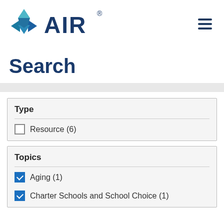[Figure (logo): AIR (American Institutes for Research) logo with diamond/arrow shape in teal and blue, followed by AIR text in dark navy blue]
Search
Type
Resource (6)
Topics
Aging (1)
Charter Schools and School Choice (1)